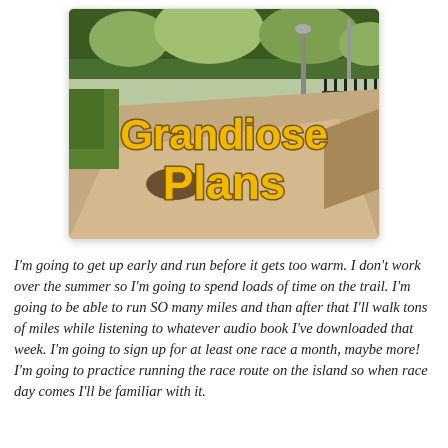[Figure (photo): Outdoor paved walkway/trail scene with trees in background and black iron fence on the right. Large bold yellow/gold text overlay reads 'Grandiose Plans'.]
I'm going to get up early and run before it gets too warm. I don't work over the summer so I'm going to spend loads of time on the trail. I'm going to be able to run SO many miles and than after that I'll walk tons of miles while listening to whatever audio book I've downloaded that week. I'm going to sign up for at least one race a month, maybe more! I'm going to practice running the race route on the island so when race day comes I'll be familiar with it.